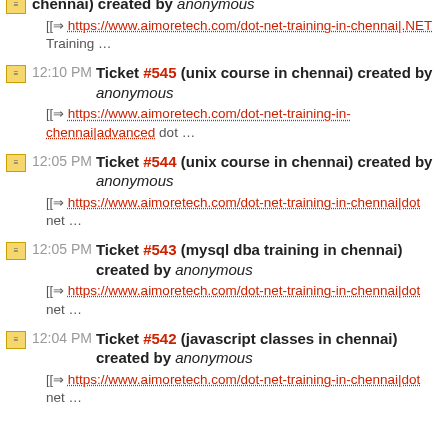12:11 PM Ticket #546 (top software training institute in chennai) created by anonymous
[[=> https://www.aimoretech.com/dot-net-training-in-chennai|.NET Training …
12:10 PM Ticket #545 (unix course in chennai) created by anonymous
[[=> https://www.aimoretech.com/dot-net-training-in-chennai|advanced dot …
12:05 PM Ticket #544 (unix course in chennai) created by anonymous
[[=> https://www.aimoretech.com/dot-net-training-in-chennai|dot net …
12:05 PM Ticket #543 (mysql dba training in chennai) created by anonymous
[[=> https://www.aimoretech.com/dot-net-training-in-chennai|dot net …
12:04 PM Ticket #542 (javascript classes in chennai) created by anonymous
[[=> https://www.aimoretech.com/dot-net-training-in-chennai|dot net …